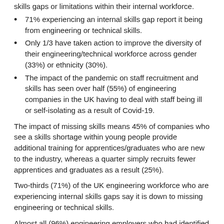skills gaps or limitations within their internal workforce.
71% experiencing an internal skills gap report it being from engineering or technical skills.
Only 1/3 have taken action to improve the diversity of their engineering/technical workforce across gender (33%) or ethnicity (30%).
The impact of the pandemic on staff recruitment and skills has seen over half (55%) of engineering companies in the UK having to deal with staff being ill or self-isolating as a result of Covid-19.
The impact of missing skills means 45% of companies who see a skills shortage within young people provide additional training for apprentices/graduates who are new to the industry, whereas a quarter simply recruits fewer apprentices and graduates as a result (25%).
Two-thirds (71%) of the UK engineering workforce who are experiencing internal skills gaps say it is down to missing engineering or technical skills.
Almost all (96%) engineering employers who had identified a skills shortage within general applicants say that this skills deficit impacts their business in some way.
The most concerning rate of skills shortages reported...